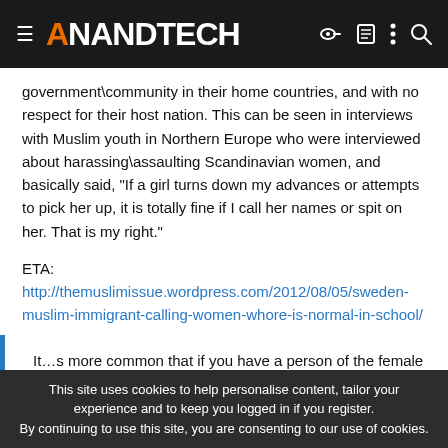AnandTech
government\community in their home countries, and with no respect for their host nation. This can be seen in interviews with Muslim youth in Northern Europe who were interviewed about harassing\assaulting Scandinavian women, and basically said, "If a girl turns down my advances or attempts to pick her up, it is totally fine if I call her names or spit on her. That is my right."
ETA: http://themuslimissue.wordpress.com/2012/08/05/sweden-muslim-immigrant-calling-women-whore-is-normal-in-school/
Its more common that if you have a person of the female gender, and that if I try and pick her up and she ignores me in front of my friends, it is more normal that I call her whore.
This site uses cookies to help personalise content, tailor your experience and to keep you logged in if you register.
By continuing to use this site, you are consenting to our use of cookies.